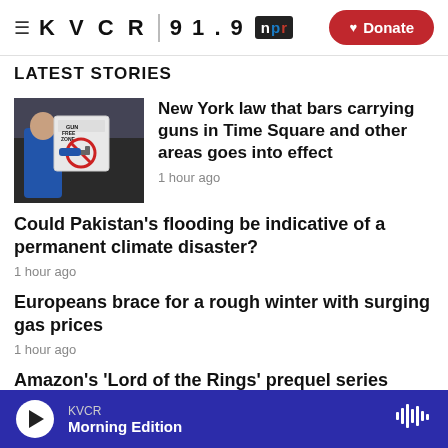KVCR 91.9 npr | Donate
LATEST STORIES
[Figure (photo): Person posting a Gun Free Zone sign]
New York law that bars carrying guns in Time Square and other areas goes into effect
1 hour ago
Could Pakistan's flooding be indicative of a permanent climate disaster?
1 hour ago
Europeans brace for a rough winter with surging gas prices
1 hour ago
Amazon's 'Lord of the Rings' prequel series spends a lot
KVCR Morning Edition